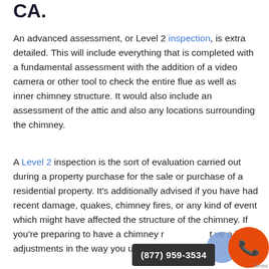CA.
An advanced assessment, or Level 2 inspection, is extra detailed. This will include everything that is completed with a fundamental assessment with the addition of a video camera or other tool to check the entire flue as well as inner chimney structure. It would also include an assessment of the attic and also any locations surrounding the chimney.
A Level 2 inspection is the sort of evaluation carried out during a property purchase for the sale or purchase of a residential property. It's additionally advised if you have had recent damage, quakes, chimney fires, or any kind of event which might have affected the structure of the chimney. If you're preparing to have a chimney r... ve a lot of adjustments in the way you utilize your